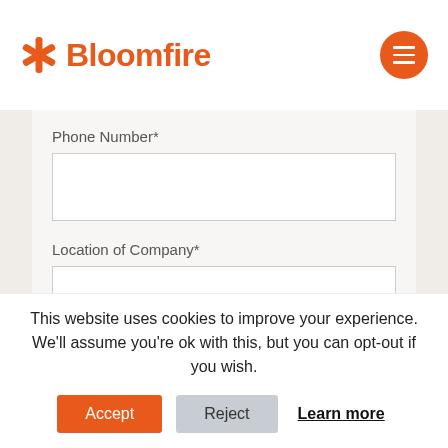[Figure (logo): Bloomfire logo with orange asterisk/star icon and orange bold text 'Bloomfire']
[Figure (other): Orange circular hamburger menu button with three white horizontal lines]
Phone Number*
Location of Company*
United States
State*
This website uses cookies to improve your experience. We'll assume you're ok with this, but you can opt-out if you wish.
Accept
Reject
Learn more